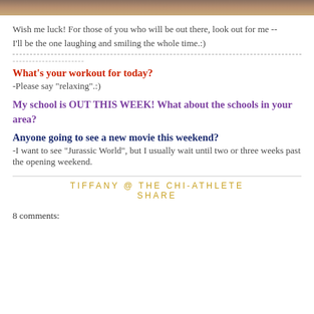[Figure (photo): Partial photo strip at top of page showing a person, cropped]
Wish me luck!  For those of you who will be out there, look out for me -- I'll be the one laughing and smiling the whole time.:)
-----------------------------------------------------------------------------------------------------
----------------------
What's your workout for today?
-Please say "relaxing".:)
My school is OUT THIS WEEK!  What about the schools in your area?
Anyone going to see a new movie this weekend?
-I want to see "Jurassic World", but I usually wait until two or three weeks past the opening weekend.
TIFFANY @ THE CHI-ATHLETE
SHARE
8 comments: